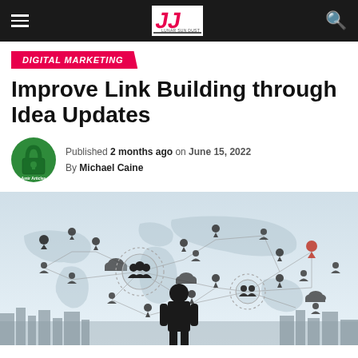Navigation bar with hamburger menu, logo, and search icon
DIGITAL MARKETING
Improve Link Building through Idea Updates
Published 2 months ago on June 15, 2022
By Michael Caine
[Figure (photo): A businessman standing in front of a global network map showing interconnected nodes with people icons, location pins, and cloud symbols overlaid on a world map background with a city skyline at the bottom.]